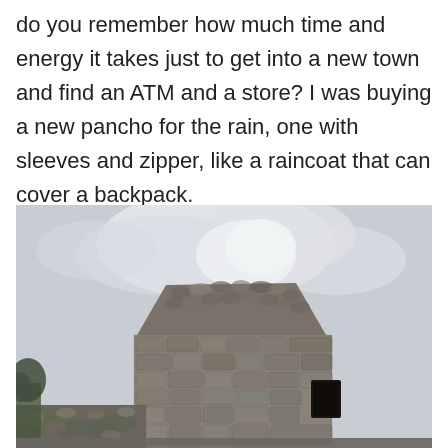do you remember how much time and energy it takes just to get into a new town and find an ATM and a store? I was buying a new pancho for the rain, one with sleeves and zipper, like a raincoat that can cover a backpack.
[Figure (photo): Photograph of an old stone building or structure with a triangular/peaked roof made of stacked stones, under an overcast grey and white sky. In the foreground are mossy stone walls. Some green vegetation visible at lower left.]